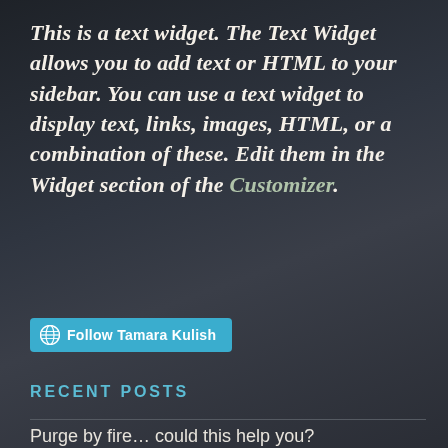This is a text widget. The Text Widget allows you to add text or HTML to your sidebar. You can use a text widget to display text, links, images, HTML, or a combination of these. Edit them in the Widget section of the Customizer.
[Figure (other): Follow Tamara Kulish button with WordPress icon]
RECENT POSTS
Purge by fire... could this help you?
Growing older: giving myself permission to enjoy eating and to just be me